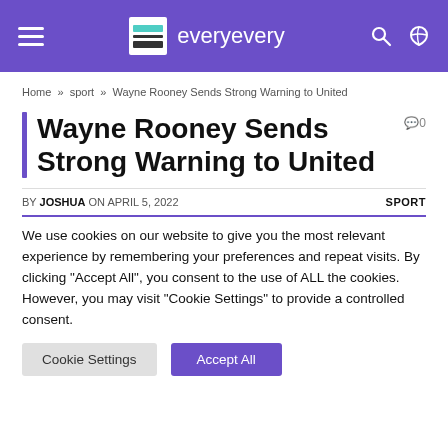everyevery
Home » sport » Wayne Rooney Sends Strong Warning to United
Wayne Rooney Sends Strong Warning to United
BY JOSHUA ON APRIL 5, 2022   SPORT
We use cookies on our website to give you the most relevant experience by remembering your preferences and repeat visits. By clicking "Accept All", you consent to the use of ALL the cookies. However, you may visit "Cookie Settings" to provide a controlled consent.